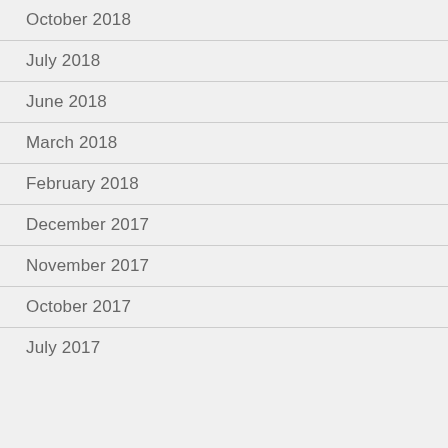October 2018
July 2018
June 2018
March 2018
February 2018
December 2017
November 2017
October 2017
July 2017